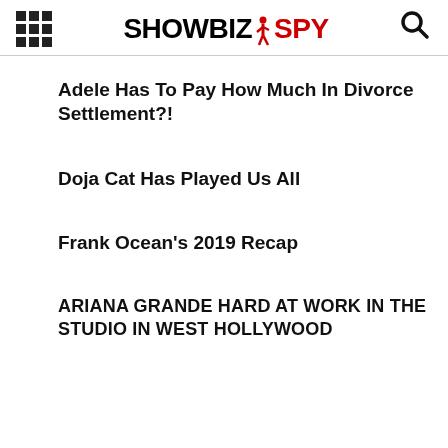SHOWBIZ SPY
Adele Has To Pay How Much In Divorce Settlement?!
Doja Cat Has Played Us All
Frank Ocean's 2019 Recap
ARIANA GRANDE HARD AT WORK IN THE STUDIO IN WEST HOLLYWOOD